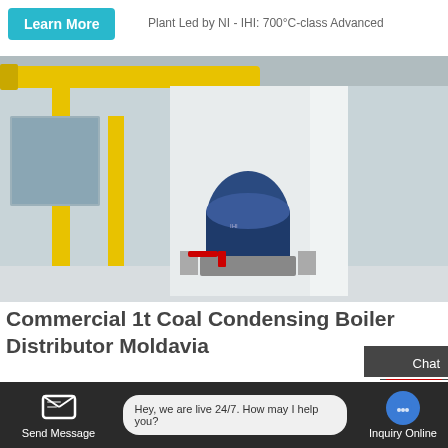Plant Led by NI - IHI: 700°C-class Advanced
Learn More
[Figure (photo): Industrial boiler plant interior showing large blue boiler equipment, yellow pipes, steel staircase with metal railing, white walls, and industrial machinery in a large factory space.]
Chat
TOP
Email
Commercial 1t Coal Condensing Boiler Distributor Moldavia
[Figure (illustration): WhatsApp green circle icon button]
Contact us now!
Commercial Agent 1 Ton Gas Boiler Machine Molda...
[Figure (illustration): Blue email circle icon button]
Send Message
Hey, we are live 24/7. How may I help you?
Inquiry Online